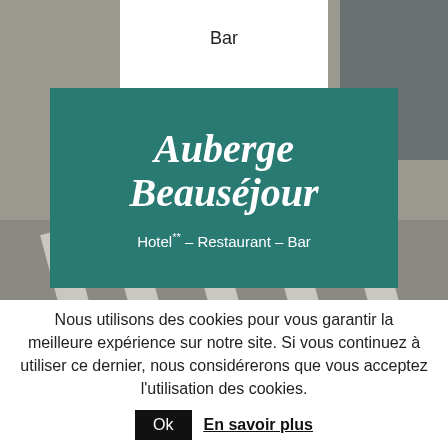Bar
[Figure (photo): Exterior photo of Auberge Beauséjour building with road markings visible, overlaid with a teal/dark green banner showing the hotel name and tagline]
Auberge Beauséjour
Hotel** – Restaurant – Bar
Nous utilisons des cookies pour vous garantir la meilleure expérience sur notre site. Si vous continuez à utiliser ce dernier, nous considérerons que vous acceptez l'utilisation des cookies.
Ok  En savoir plus